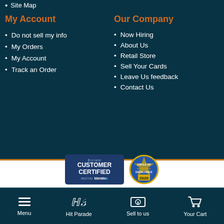Site Map
My Account
Do not sell my info
My Orders
My Account
Track an Order
Our Company
Now Hiring
About Us
Retail Store
Sell Your Cards
Leave Us feedback
Contact Us
[Figure (logo): Bizrate Customer Certified badge dated 08/27/22, Bizrate Circle of Excellence 2020 badge, Upper Deck Authorized Internet Retailer logo, Panini Internet Retailer badge, Wizards Internet Retailer logo]
Menu | Hit Parade | Sell to us | Your Cart